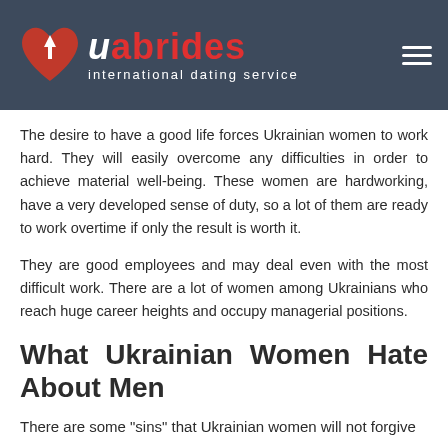uabrides international dating service
The desire to have a good life forces Ukrainian women to work hard. They will easily overcome any difficulties in order to achieve material well-being. These women are hardworking, have a very developed sense of duty, so a lot of them are ready to work overtime if only the result is worth it.
They are good employees and may deal even with the most difficult work. There are a lot of women among Ukrainians who reach huge career heights and occupy managerial positions.
What Ukrainian Women Hate About Men
There are some "sins" that Ukrainian women will not forgive men.
Boasting
When men look for Ukrainian women for dating, they immediately want to put their best foot forward. That is why they start talking